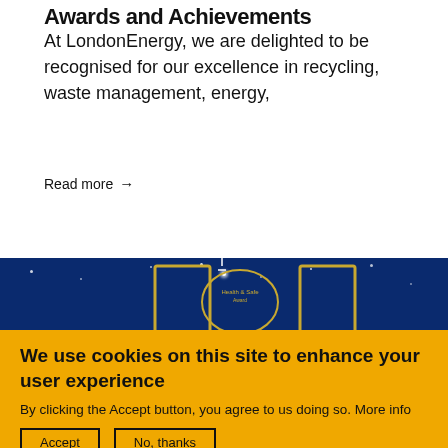Awards and Achievements
At LondonEnergy, we are delighted to be recognised for our excellence in recycling, waste management, energy,
Read more →
[Figure (photo): Blue background with gold award frames and stars, showing a Health & Safety award]
We use cookies on this site to enhance your user experience
By clicking the Accept button, you agree to us doing so. More info
Accept   No, thanks